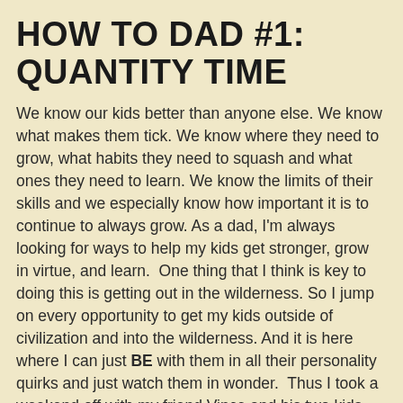HOW TO DAD #1: QUANTITY TIME
We know our kids better than anyone else. We know what makes them tick. We know where they need to grow, what habits they need to squash and what ones they need to learn. We know the limits of their skills and we especially know how important it is to continue to always grow. As a dad, I'm always looking for ways to help my kids get stronger, grow in virtue, and learn.  One thing that I think is key to doing this is getting out in the wilderness. So I jump on every opportunity to get my kids outside of civilization and into the wilderness. And it is here where I can just BE with them in all their personality quirks and just watch them in wonder.  Thus I took a weekend off with my friend Vince and his two kids and we headed out into the Alps to a small town called Hallstatt. We arrived after 4 trains to across the lake at the town.